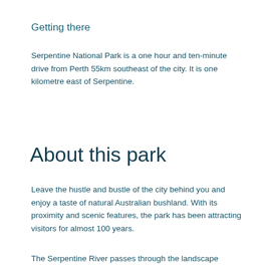Getting there
Serpentine National Park is a one hour and ten-minute drive from Perth 55km southeast of the city. It is one kilometre east of Serpentine.
About this park
Leave the hustle and bustle of the city behind you and enjoy a taste of natural Australian bushland. With its proximity and scenic features, the park has been attracting visitors for almost 100 years.
The Serpentine River passes through the landscape